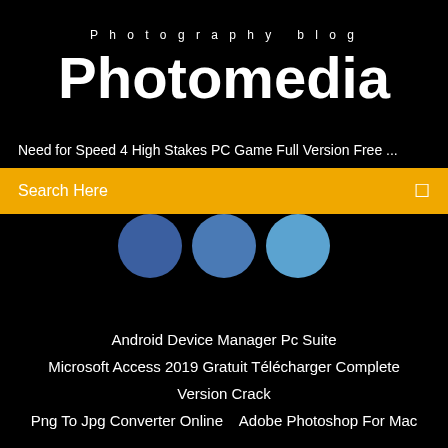Photography blog
Photomedia
Need for Speed 4 High Stakes PC Game Full Version Free ...
Search Here
[Figure (illustration): Three blue circles partially visible, suggesting social media or navigation icons]
Android Device Manager Pc Suite
Microsoft Access 2019 Gratuit Télécharger Complete Version Crack
Png To Jpg Converter Online   Adobe Photoshop For Mac
Copyright 2021 All rights reserved by Photomedia